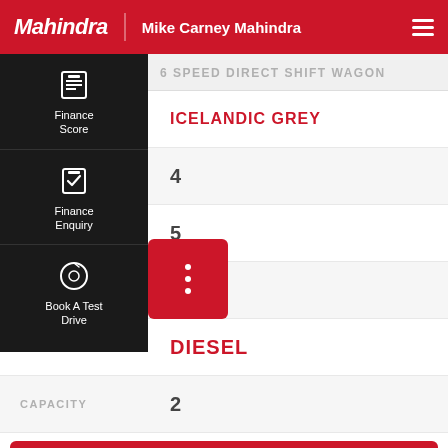Mahindra | Mike Carney Mahindra
6 SPEED DIRECT SHIFT WAGON
BODY COLOUR: ICELANDIC GREY
S: 4
S: 5
DERS: 4
E: DIESEL
CAPACITY: 2
CONTACT US
FINANCE SCORE